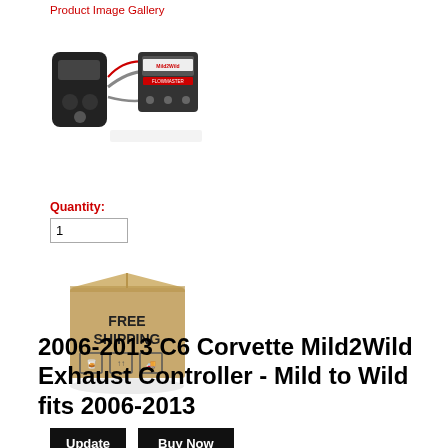Product Image Gallery
[Figure (photo): Product image of Mild2Wild exhaust controller device with wires and remote]
Quantity:
[Figure (photo): Free Shipping cardboard box icon]
Update   Buy Now
2006-2013 C6 Corvette Mild2Wild Exhaust Controller - Mild to Wild fits 2006-2013
FREE SHIPPING ON THIS ITEM Mild2Wild Exhaust Controller
This Mild 2 Wild exhaust controller is Compatible